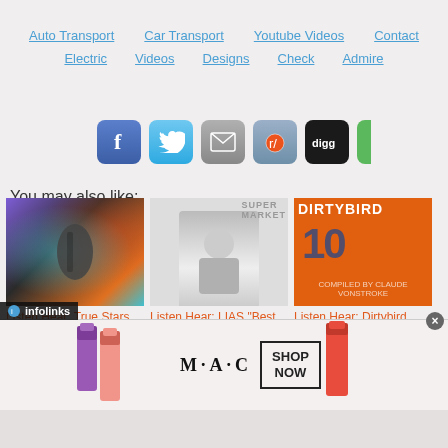Auto Transport | Car Transport | Youtube Videos | Contact | Electric | Videos | Designs | Check | Admire
[Figure (screenshot): Social sharing buttons: Facebook, Twitter, Email, Reddit, Digg, and one more (green, partially visible)]
You may also like:
[Figure (photo): Listen Hear: True Stars Cover - black and white photo of guitarist with colorful psychedelic background]
[Figure (photo): Listen Hear: LIAS 'Best of 2014' End Of... - black and white photo of young woman in baseball cap with SUPERMARKET text behind]
[Figure (photo): Listen Hear: Dirtybird 'Dirtybird 10' De... - orange album art with DIRTYBIRD 10 text]
[Figure (screenshot): infolinks overlay bar at bottom left]
[Figure (photo): M·A·C cosmetics advertisement with lipsticks and SHOP NOW button]